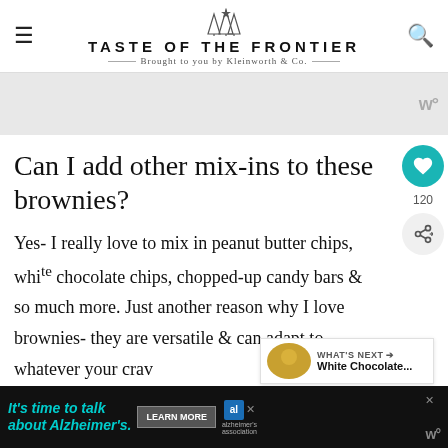TASTE OF THE FRONTIER — Brought to you by Kleinworth & Co.
[Figure (screenshot): Advertisement banner area with W° icon]
Can I add other mix-ins to these brownies?
Yes- I really love to mix in peanut butter chips, white chocolate chips, chopped-up candy bars & so much more. Just another reason why I love brownies- they are versatile & can adapt to whatever your craving.
[Figure (screenshot): Bottom advertisement banner: It's time to talk about Alzheimer's. LEARN MORE. alzheimer's association logo.]